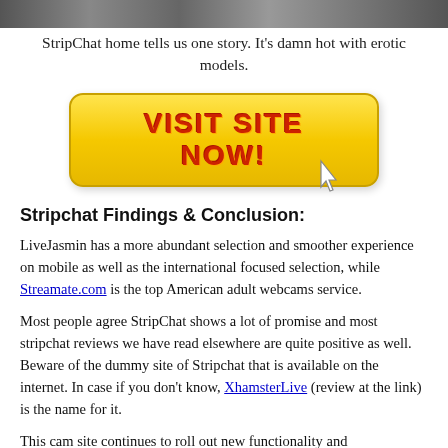[Figure (photo): Top banner image strip showing erotic models from StripChat]
StripChat home tells us one story. It's damn hot with erotic models.
[Figure (other): Yellow 'VISIT SITE NOW!' button with cursor hand icon]
Stripchat Findings & Conclusion:
LiveJasmin has a more abundant selection and smoother experience on mobile as well as the international focused selection, while Streamate.com is the top American adult webcams service.
Most people agree StripChat shows a lot of promise and most stripchat reviews we have read elsewhere are quite positive as well. Beware of the dummy site of Stripchat that is available on the internet. In case if you don't know, XhamsterLive (review at the link) is the name for it.
This cam site continues to roll out new functionality and